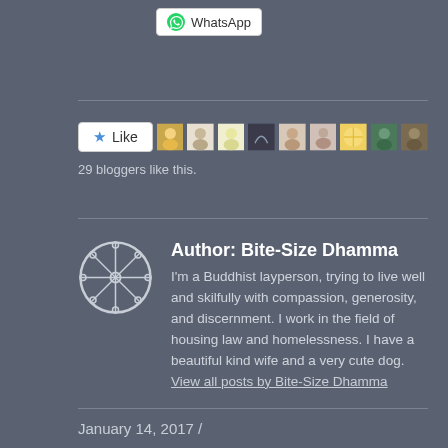[Figure (other): WhatsApp share button at top of page]
[Figure (other): Like button with star icon, followed by 9 blogger avatar thumbnails]
29 bloggers like this.
[Figure (other): Circular compass/dharma wheel logo for Bite-Size Dhamma author]
Author: Bite-Size Dhamma
I'm a Buddhist layperson, trying to live well and skilfully with compassion, generosity, and discernment. I work in the field of housing law and homelessness. I have a beautiful kind wife and a very cute dog. View all posts by Bite-Size Dhamma
January 14, 2017  /